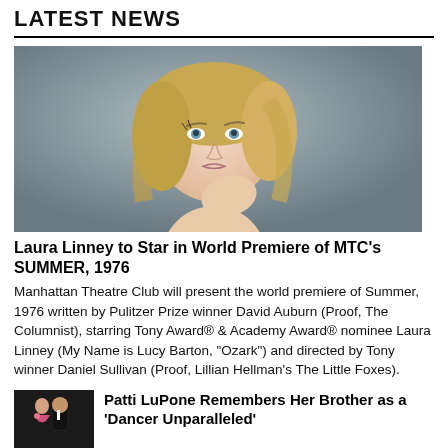LATEST NEWS
[Figure (photo): Portrait photo of Laura Linney, a blonde woman with blue eyes, resting her chin on her hand against a grey background]
Laura Linney to Star in World Premiere of MTC's SUMMER, 1976
Manhattan Theatre Club will present the world premiere of Summer, 1976 written by Pulitzer Prize winner David Auburn (Proof, The Columnist), starring Tony Award® & Academy Award® nominee Laura Linney (My Name is Lucy Barton, “Ozark”) and directed by Tony winner Daniel Sullivan (Proof, Lillian Hellman’s The Little Foxes).
[Figure (photo): Small thumbnail photo of Patti LuPone with a person in a tuxedo]
Patti LuPone Remembers Her Brother as a 'Dancer Unparalleled'